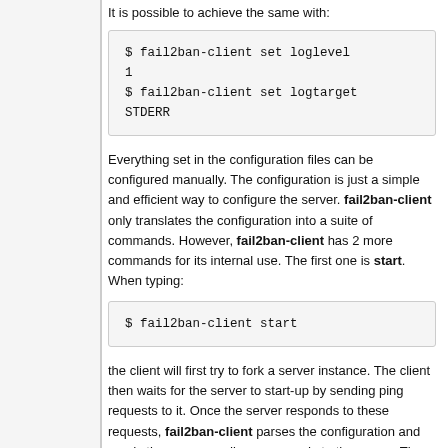It is possible to achieve the same with:
$ fail2ban-client set loglevel 1
$ fail2ban-client set logtarget STDERR
Everything set in the configuration files can be configured manually. The configuration is just a simple and efficient way to configure the server. fail2ban-client only translates the configuration into a suite of commands. However, fail2ban-client has 2 more commands for its internal use. The first one is start. When typing:
$ fail2ban-client start
the client will first try to fork a server instance. The client then waits for the server to start-up by sending ping requests to it. Once the server responds to these requests, fail2ban-client parses the configuration and sends the corresponding commands to the server. The